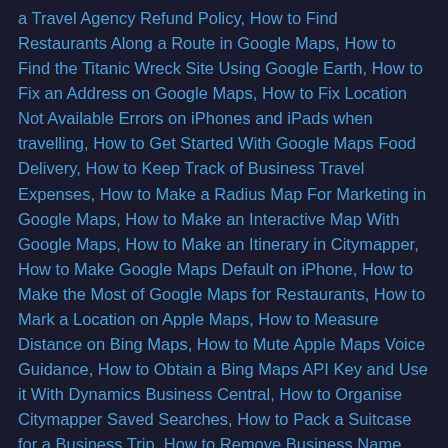a Travel Agency Refund Policy, How to Find Restaurants Along a Route in Google Maps, How to Find the Titanic Wreck Site Using Google Earth, How to Fix an Address on Google Maps, How to Fix Location Not Available Errors on iPhones and iPads when travelling, How to Get Started With Google Maps Food Delivery, How to Keep Track of Business Travel Expenses, How to Make a Radius Map For Marketing in Google Maps, How to Make an Interactive Map With Google Maps, How to Make an Itinerary in Citymapper, How to Make Google Maps Default on iPhone, How to Make the Most of Google Maps for Restaurants, How to Mark a Location on Apple Maps, How to Measure Distance on Bing Maps, How to Mute Apple Maps Voice Guidance, How to Obtain a Bing Maps API Key and Use it With Dynamics Business Central, How to Organise Citymapper Saved Searches, How to Pack a Suitcase for a Business Trip, How to Remove Business Name From Google Maps, How to Remove Restaurants From Google Maps, How to Remove the Wikitude Free Trial Watermark, How to Request a Megabus Refund, How to Rotate Google Maps on a Mobile Device, How to Save Directions Offline on Citymapper, How to Track Someone on Google Maps Without Them Knowing, How to Turn Off Driving Mode on Google Maps, How to Turn Off the Citymapper App on Your Android Phone, How to Turn Off Tolls in Google Maps, How to Turn Off Tolls on Apple Maps, How to Upload Video to Wikitude Studio...